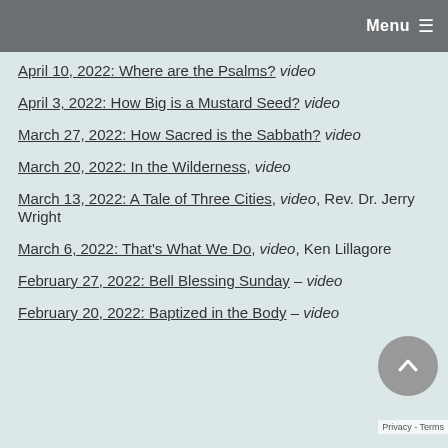Menu
April 10, 2022: Where are the Psalms? video
April 3, 2022: How Big is a Mustard Seed? video
March 27, 2022: How Sacred is the Sabbath? video
March 20, 2022: In the Wilderness, video
March 13, 2022: A Tale of Three Cities, video, Rev. Dr. Jerry Wright
March 6, 2022: That's What We Do, video, Ken Lillagore
February 27, 2022: Bell Blessing Sunday – video
February 20, 2022: Baptized in the Body – video